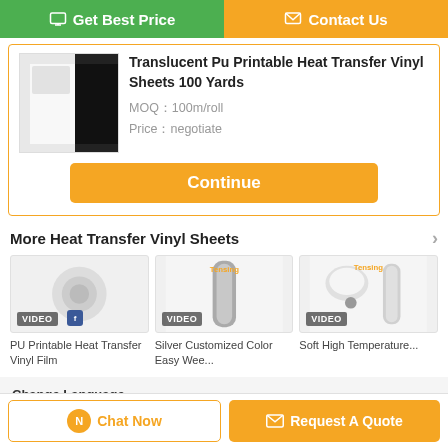[Figure (screenshot): Get Best Price button (green) and Contact Us button (orange) at top of page]
Translucent Pu Printable Heat Transfer Vinyl Sheets 100 Yards
MOQ¼100m/roll
Price¼negotiate
Continue
More  Heat Transfer Vinyl Sheets
[Figure (photo): PU Printable Heat Transfer Vinyl Film product thumbnail with VIDEO badge]
PU Printable Heat Transfer Vinyl Film
[Figure (photo): Silver Customized Color Easy Wee... product thumbnail with VIDEO badge]
Silver Customized Color Easy Wee...
[Figure (photo): Soft High Temperature... product thumbnail with VIDEO badge]
Soft High Temperature...
Change Language
Chat Now
Request A Quote